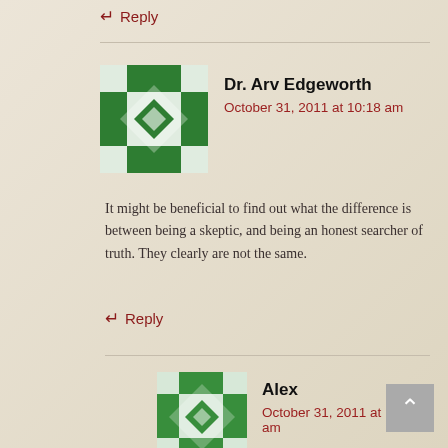↵ Reply
Dr. Arv Edgeworth
October 31, 2011 at 10:18 am
It might be beneficial to find out what the difference is between being a skeptic, and being an honest searcher of truth. They clearly are not the same.
↵ Reply
Alex
October 31, 2011 at 10:44 am
Why do you say that?
↵ Reply